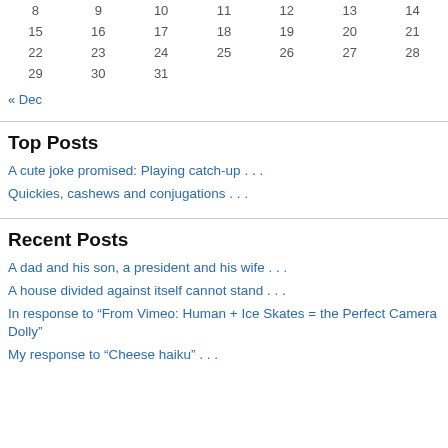| 8 | 9 | 10 | 11 | 12 | 13 | 14 |
| 15 | 16 | 17 | 18 | 19 | 20 | 21 |
| 22 | 23 | 24 | 25 | 26 | 27 | 28 |
| 29 | 30 | 31 |  |  |  |  |
« Dec
Top Posts
A cute joke promised: Playing catch-up . . .
Quickies, cashews and conjugations . . .
Recent Posts
A dad and his son, a president and his wife . . .
A house divided against itself cannot stand . . .
In response to “From Vimeo: Human + Ice Skates = the Perfect Camera Dolly”
My response to “Cheese haiku” . . .